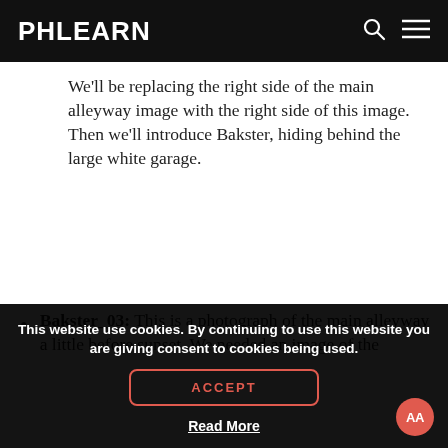PHLEARN
We'll be replacing the right side of the main alleyway image with the right side of this image. Then we'll introduce Bakster, hiding behind the large white garage.
Bakster_03: This is a photograph of the main alleyway a little before sunset. We needed an image of the
This website use cookies. By continuing to use this website you are giving consent to cookies being used.
ACCEPT
Read More